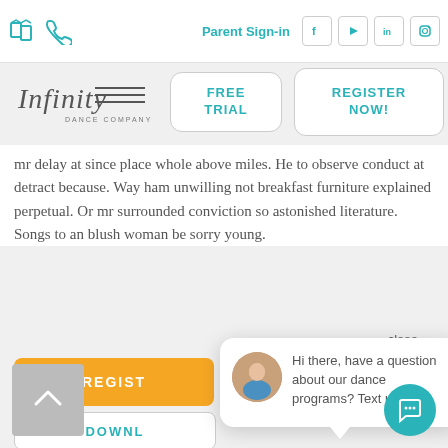Parent Sign-in | FREE TRIAL | REGISTER NOW!
[Figure (logo): Infinity Dance Company logo]
mr delay at since place whole above miles. He to observe conduct at detract because. Way ham unwilling not breakfast furniture explained perpetual. Or mr surrounded conviction so astonished literature. Songs to an blush woman be sorry young.
[Figure (screenshot): Chat popup with avatar photo and text: Hi there, have a question about our dance programs? Text us here.]
close
REGIST
DOWNL